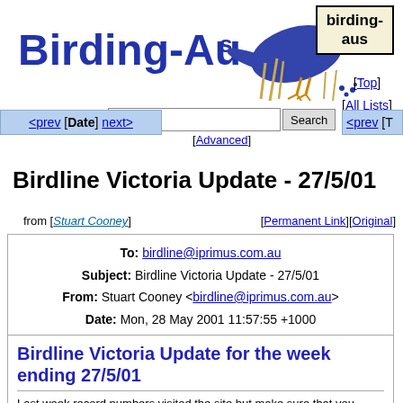[Figure (illustration): Birding-Aus logo with a blue bird (fairy-wren) on grassy background and bold blue text 'Birding-Aus' with superscript 's']
birding-aus
[Top] [All Lists]
<prev [Date] next>
Search [Advanced]
<prev [T
Birdline Victoria Update - 27/5/01
from [Stuart Cooney]   [Permanent Link][Original]
| To: | birdline@iprimus.com.au |
| Subject: | Birdline Victoria Update - 27/5/01 |
| From: | Stuart Cooney <birdline@iprimus.com.au> |
| Date: | Mon, 28 May 2001 11:57:55 +1000 |
Birdline Victoria Update for the week ending 27/5/01
Last week record numbers visited the site but make sure that you refresh regularly to ensure that you get the most up to date version. More sightings this week from North West Victoria